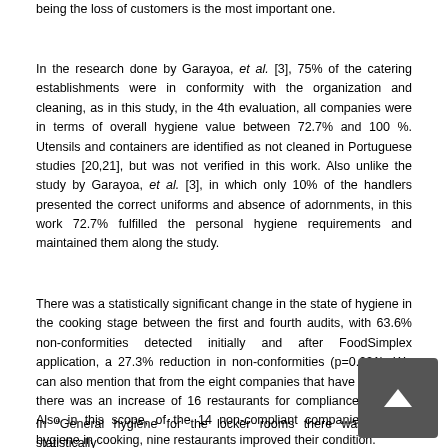being the loss of customers is the most important one.
In the research done by Garayoa, et al. [3], 75% of the catering establishments were in conformity with the organization and cleaning, as in this study, in the 4th evaluation, all companies were in terms of overall hygiene value between 72.7% and 100 %. Utensils and containers are identified as not cleaned in Portuguese studies [20,21], but was not verified in this work. Also unlike the study by Garayoa, et al. [3], in which only 10% of the handlers presented the correct uniforms and absence of adornments, in this work 72.7% fulfilled the personal hygiene requirements and maintained them along the study.
There was a statistically significant change in the state of hygiene in the cooking stage between the first and fourth audits, with 63.6% non-conformities detected initially and after FoodSimplex application, a 27.3% reduction in non-conformities (p=0.021). We can also mention that from the eight companies that have complied, there was an increase of 16 restaurants for compliance (72.8%). Also in this scope, of the 14 non-compliant companies for the hygiene in cooking, nine restaurants improved their condition.
In “General hygiene for the locker rooms there was also a statistically